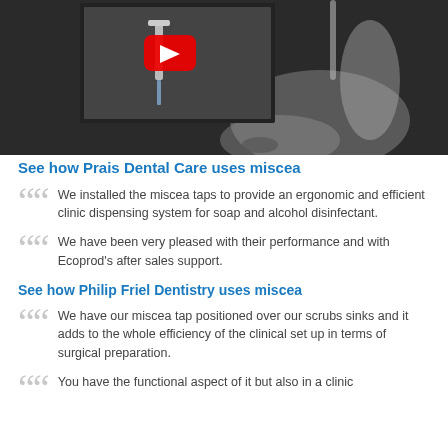[Figure (photo): Black and white photo of a person's hand near a sink tap, with an inset showing a YouTube video screenshot with play button]
See how Prais Dental Care uses miscea
We installed the miscea taps to provide an ergonomic and efficient clinic dispensing system for soap and alcohol disinfectant.
We have been very pleased with their performance and with Ecoprod's after sales support.
See how Philip Friel Dentistry uses miscea
We have our miscea tap positioned over our scrubs sinks and it adds to the whole efficiency of the clinical set up in terms of surgical preparation.
You have the functional aspect of it but also in a clinic